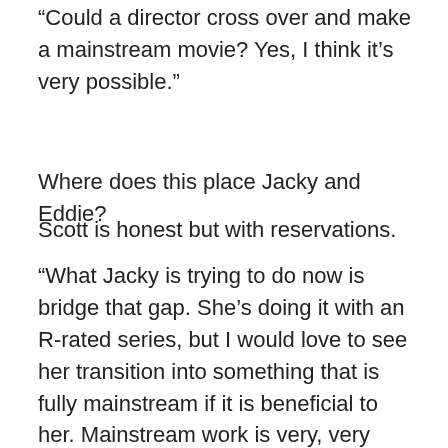“Could a director cross over and make a mainstream movie? Yes, I think it’s very possible.”
Where does this place Jacky and Eddie?
Scott is honest but with reservations.
“What Jacky is trying to do now is bridge that gap. She’s doing it with an R-rated series, but I would love to see her transition into something that is fully mainstream if it is beneficial to her. Mainstream work is very, very difficult from what I’ve seen. It’s very difficult to break into.”
Scott offers a final thought.
“I think Eddie can get out there and run that camera on a mainstream set in a second. I think Jacky can write